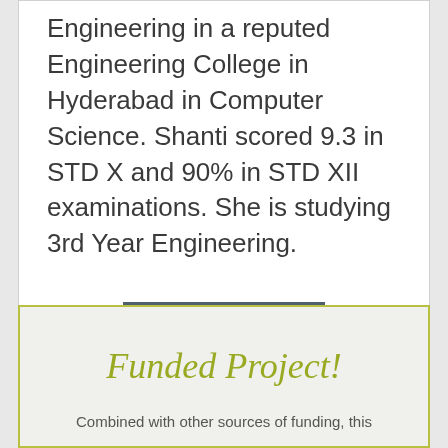Engineering in a reputed Engineering College in Hyderabad in Computer Science. Shanti scored 9.3 in STD X and 90% in STD XII examinations. She is studying 3rd Year Engineering.
READ MORE
Funded Project!
Combined with other sources of funding, this